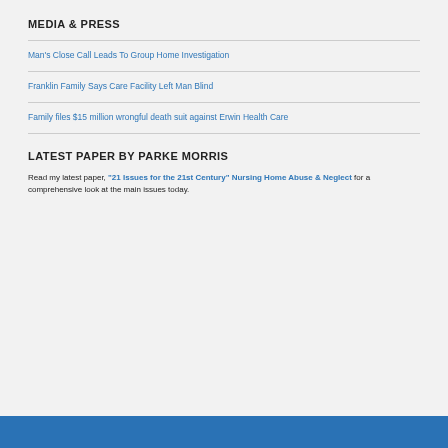MEDIA & PRESS
Man's Close Call Leads To Group Home Investigation
Franklin Family Says Care Facility Left Man Blind
Family files $15 million wrongful death suit against Erwin Health Care
LATEST PAPER BY PARKE MORRIS
Read my latest paper, "21 Issues for the 21st Century" Nursing Home Abuse & Neglect for a comprehensive look at the main issues today.